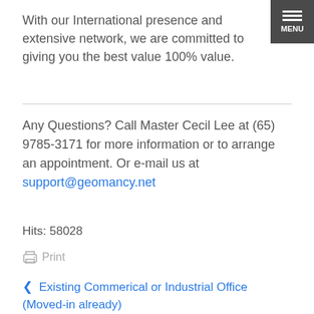With our International presence and extensive network, we are committed to giving you the best value 100% value.
Any Questions? Call Master Cecil Lee at (65) 9785-3171 for more information or to arrange an appointment. Or e-mail us at support@geomancy.net
Hits: 58028
Print
Existing Commerical or Industrial Office (Moved-in already)